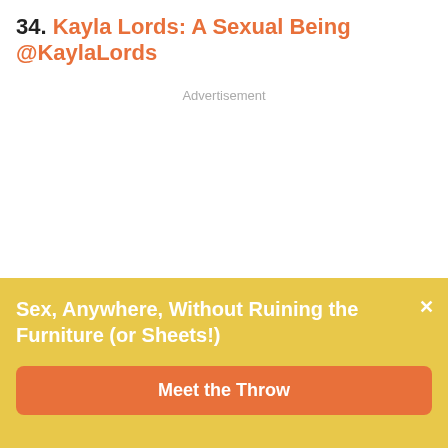34. Kayla Lords: A Sexual Being @KaylaLords
Advertisement
Sex, Anywhere, Without Ruining the Furniture (or Sheets!)
Meet the Throw